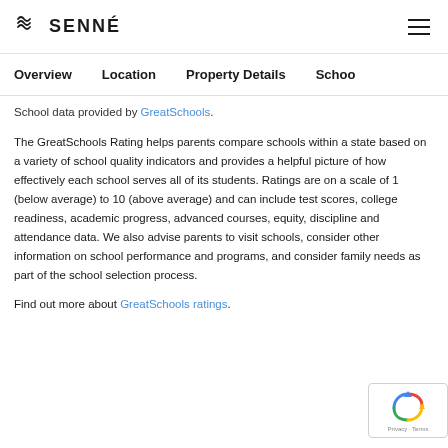SENNÉ
Overview   Location   Property Details   Schoo
School data provided by GreatSchools.
The GreatSchools Rating helps parents compare schools within a state based on a variety of school quality indicators and provides a helpful picture of how effectively each school serves all of its students. Ratings are on a scale of 1 (below average) to 10 (above average) and can include test scores, college readiness, academic progress, advanced courses, equity, discipline and attendance data. We also advise parents to visit schools, consider other information on school performance and programs, and consider family needs as part of the school selection process.
Find out more about GreatSchools ratings.